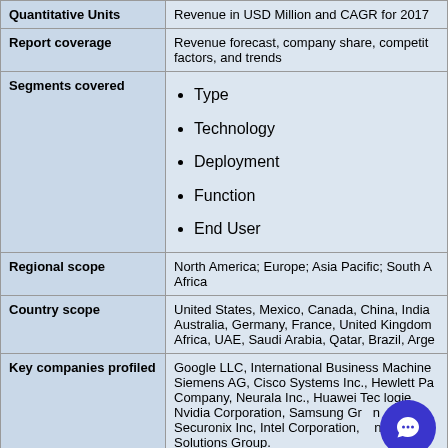|  |  |
| --- | --- |
| Quantitative Units | Revenue in USD Million and CAGR for 2017 |
| Report coverage | Revenue forecast, company share, competitive factors, and trends |
| Segments covered | Type
Technology
Deployment
Function
End User |
| Regional scope | North America; Europe; Asia Pacific; South A Africa |
| Country scope | United States, Mexico, Canada, China, India, Australia, Germany, France, United Kingdom, Africa, UAE, Saudi Arabia, Qatar, Brazil, Arge |
| Key companies profiled | Google LLC, International Business Machines, Siemens AG, Cisco Systems Inc., Hewlett Pa Company, Neurala Inc., Huawei Technologies, Nvidia Corporation, Samsung Group, Securonix Inc, Intel Corporation, Solutions Group. |